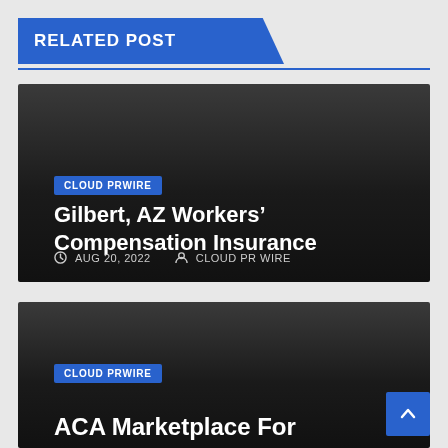RELATED POST
[Figure (other): Dark card with blue CLOUD PRWIRE badge, title 'Gilbert, AZ Workers' Compensation Insurance', date AUG 20, 2022 and author CLOUD PR WIRE]
CLOUD PRWIRE
Gilbert, AZ Workers’ Compensation Insurance
AUG 20, 2022   CLOUD PR WIRE
[Figure (other): Dark card with blue CLOUD PRWIRE badge and partial title 'ACA Marketplace For']
CLOUD PRWIRE
ACA Marketplace For